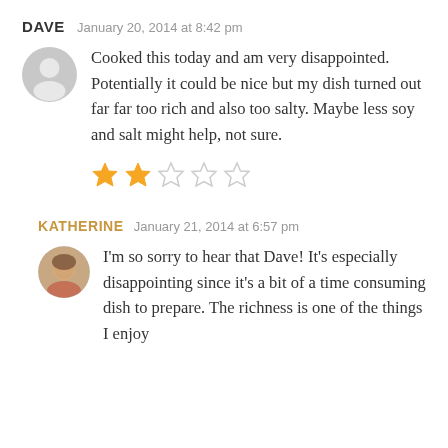DAVE   January 20, 2014 at 8:42 pm
Cooked this today and am very disappointed. Potentially it could be nice but my dish turned out far far too rich and also too salty. Maybe less soy and salt might help, not sure.
[Figure (other): 2 out of 5 stars rating — two filled gold stars followed by three empty grey stars]
KATHERINE   January 21, 2014 at 6:57 pm
I'm so sorry to hear that Dave! It's especially disappointing since it's a bit of a time consuming dish to prepare. The richness is one of the things I enjoy